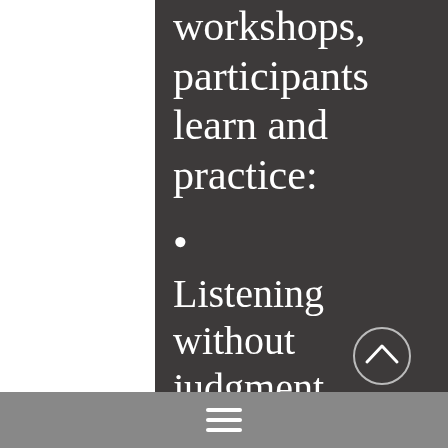workshops, participants learn and practice:
Listening without judgment
Voicing strong feelings